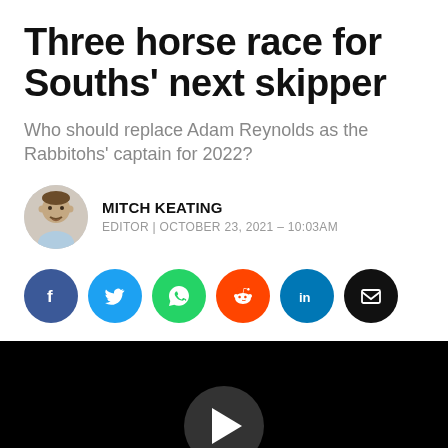Three horse race for Souths' next skipper
Who should replace Adam Reynolds as the Rabbitohs' captain for 2022?
MITCH KEATING
EDITOR | OCTOBER 23, 2021 – 10:03AM
[Figure (infographic): Social share buttons: Facebook, Twitter, WhatsApp, Reddit, LinkedIn, Email]
[Figure (screenshot): Black video player area with a circular play button in the center]